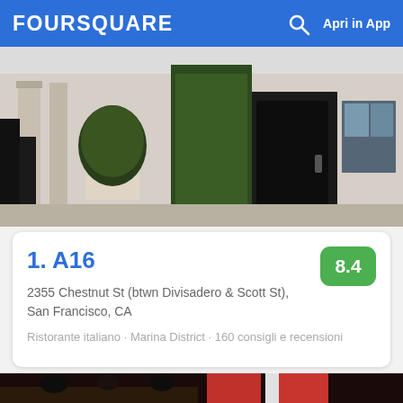FOURSQUARE  🔍  Apri in App
[Figure (photo): Street exterior of restaurant A16 showing door with ivy and potted topiary tree]
1. A16
8.4
2355 Chestnut St (btwn Divisadero & Scott St), San Francisco, CA
Ristorante italiano · Marina District · 160 consigli e recensioni
[Figure (photo): Interior of Chipotle restaurant with customers seated, red Chipotle branded pillars visible]